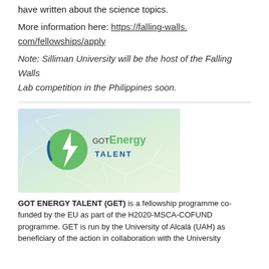have written about the science topics.
More information here: https://falling-walls.com/fellowships/apply
Note: Silliman University will be the host of the Falling Walls Lab competition in the Philippines soon.
[Figure (logo): GOT Energy Talent logo on a light blue-green gradient background with a green lightning bolt circle icon and blue/green text reading GOT Energy TALENT]
GOT ENERGY TALENT (GET) is a fellowship programme co-funded by the EU as part of the H2020-MSCA-COFUND programme. GET is run by the University of Alcalá (UAH) as beneficiary of the action in collaboration with the University